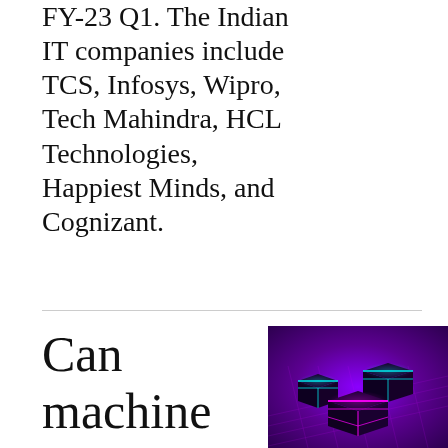FY-23 Q1. The Indian IT companies include TCS, Infosys, Wipro, Tech Mahindra, HCL Technologies, Happiest Minds, and Cognizant.
Can machine learning
[Figure (photo): Purple and blue glowing 3D cubes arranged on a dark purple grid surface, futuristic technology concept image]